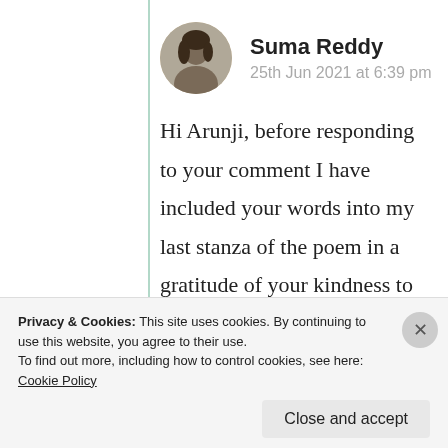Suma Reddy
25th Jun 2021 at 6:39 pm
Hi Arunji, before responding to your comment I have included your words into my last stanza of the poem in a gratitude of your kindness to me always and now it seems more profound. Trust me, I dropped few drops of pearls while reading you p
Privacy & Cookies: This site uses cookies. By continuing to use this website, you agree to their use.
To find out more, including how to control cookies, see here: Cookie Policy
Close and accept